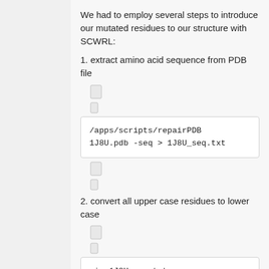We had to employ several steps to introduce our mutated residues to our structure with SCWRL:
1. extract amino acid sequence from PDB file
[Figure (screenshot): Small icon placeholders (two small grey squares stacked)]
/apps/scripts/repairPDB 1J8U.pdb -seq > 1J8U_seq.txt
[Figure (screenshot): Small icon placeholders (two small grey squares stacked)]
2. convert all upper case residues to lower case
[Figure (screenshot): Small icon placeholders (two small grey squares stacked)]
vim 1J8U_seq.txt

:%s/.*/\L&/g